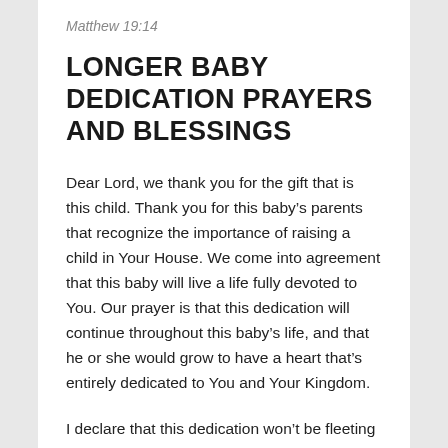Matthew 19:14
LONGER BABY DEDICATION PRAYERS AND BLESSINGS
Dear Lord, we thank you for the gift that is this child. Thank you for this baby’s parents that recognize the importance of raising a child in Your House. We come into agreement that this baby will live a life fully devoted to You. Our prayer is that this dedication will continue throughout this baby’s life, and that he or she would grow to have a heart that’s entirely dedicated to You and Your Kingdom.
I declare that this dedication won’t be fleeting or temporary, but that it would be a lifelong devotion to You and Your Word. As a church, we come against anything that the enemy may use to try to derail or distract this baby. In the Name of Jesus, we believe that